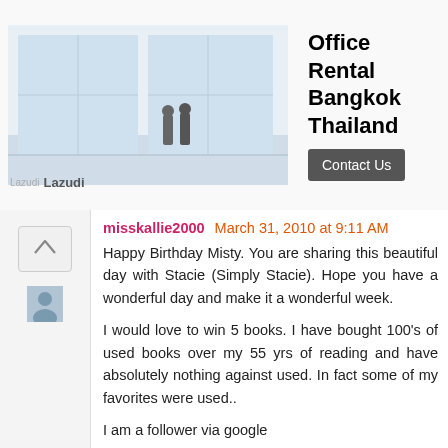[Figure (screenshot): Advertisement banner for Office Rental Bangkok Thailand by Lazudi, with a photo of a bright white office space with two people, a Contact Us button, and ad navigation icons.]
misskallie2000  March 31, 2010 at 9:11 AM

Happy Birthday Misty. You are sharing this beautiful day with Stacie (Simply Stacie). Hope you have a wonderful day and make it a wonderful week.

I would love to win 5 books. I have bought 100's of used books over my 55 yrs of reading and have absolutely nothing against used. In fact some of my favorites were used..

I am a follower via google

I follow via twitter(@misskallie2000)

Latest: Tweet 3-31-10
DarlingMisty @SwagBucks Rock & Rye Faygo. I know most of the country has no idea what I'm talking about, but man! Best